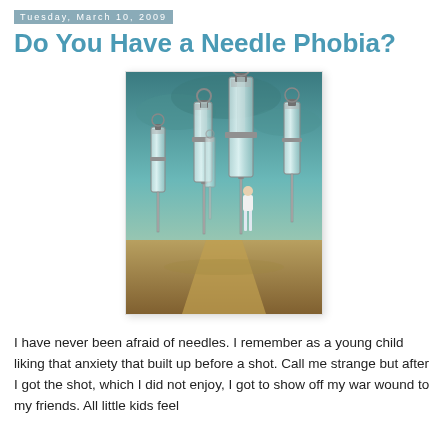Tuesday, March 10, 2009
Do You Have a Needle Phobia?
[Figure (illustration): Surreal illustration of a small human figure standing on a desert path surrounded by giant syringes/needles against a stormy teal sky]
I have never been afraid of needles. I remember as a young child liking that anxiety that built up before a shot. Call me strange but after I got the shot, which I did not enjoy, I got to show off my war wound to my friends. All little kids feel